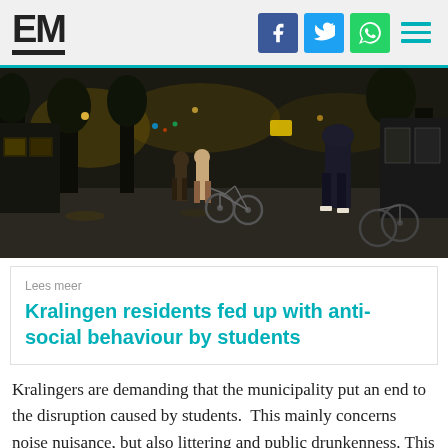EM
[Figure (photo): Night street scene showing people walking and cycling on a dark urban square, with illuminated shop fronts and trees visible in the background.]
Lees meer
Kralingen residents fed up with anti-social behaviour by students
Kralingers are demanding that the municipality put an end to the disruption caused by students. This mainly concerns noise nuisance, but also littering and public drunkenness. This is what the municipality is to advise...